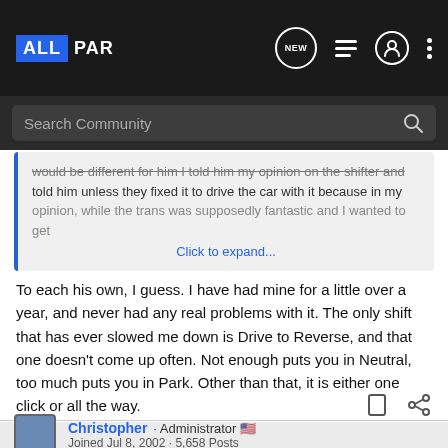ALLPAR — Navigation bar with logo, NEW, list, user, and more icons, and search bar
would be different for him I told him my opinion on the shifter and told him unless they fixed it to drive the car with it because in my opinion, while the trans was supposedly fantastic and I wanted to get
Click to expand...
To each his own, I guess. I have had mine for a little over a year, and never had any real problems with it. The only shift that has ever slowed me down is Drive to Reverse, and that one doesn't come up often. Not enough puts you in Neutral, too much puts you in Park. Other than that, it is either one click or all the way.
Christopher · Administrator 🇺🇸
Joined Jul 8, 2002 · 5,658 Posts